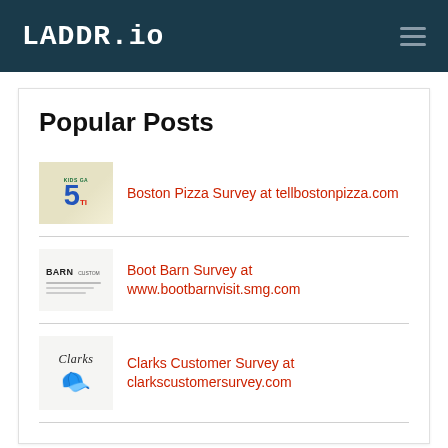LADDR.io
Popular Posts
Boston Pizza Survey at tellbostonpizza.com
Boot Barn Survey at www.bootbarnvisit.smg.com
Clarks Customer Survey at clarkscustomersurvey.com
How to Take GAP Feedback Survey